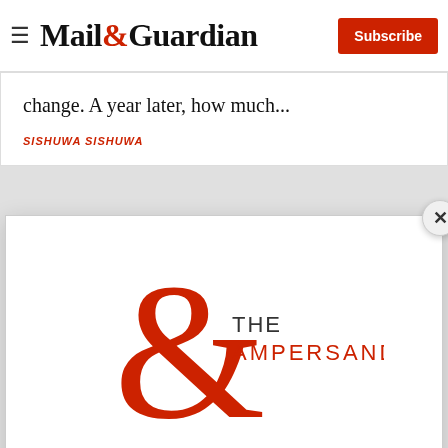Mail&Guardian | Subscribe
change. A year later, how much...
SISHUWA SISHUWA
[Figure (logo): The Ampersand newsletter logo — large red ampersand with 'THE AMPERSAND' text]
Stay informed. Every weekday.
E-mail Address
Signup now